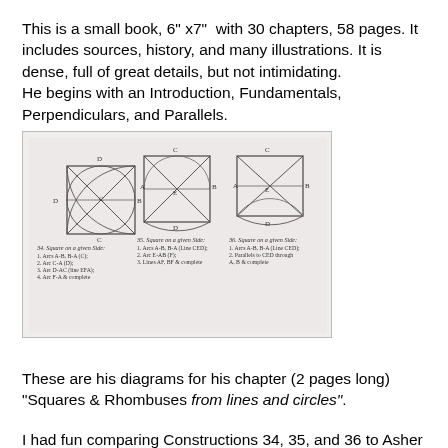This is a small book, 6" x7"  with 30 chapters, 58 pages. It includes sources, history, and many illustrations. It is dense, full of great details, but not intimidating.
He begins with an Introduction, Fundamentals, Perpendiculars, and Parallels.
[Figure (illustration): Three geometric diagrams showing construction of squares on a given side using arcs and lines (Constructions 34, 35, and 36). Each diagram shows a square with inscribed circle arcs and construction lines, with numbered step-by-step instructions below each figure.]
These are his diagrams for his chapter (2 pages long) "Squares & Rhombuses from lines and circles".
I had fun comparing Constructions 34, 35, and 36 to Asher Benjamin and Owen Riddle's instructions. Both 34 and 35